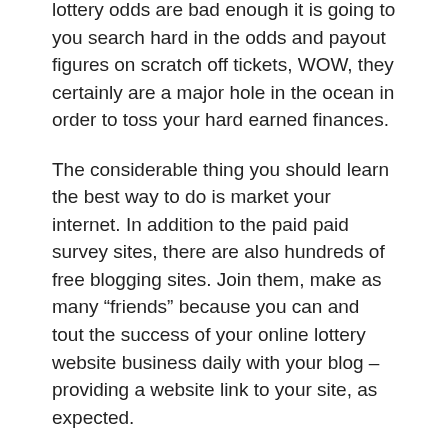spend cash on, scratch-off-style game applications. lottery odds are bad enough it is going to you search hard in the odds and payout figures on scratch off tickets, WOW, they certainly are a major hole in the ocean in order to toss your hard earned finances.
The considerable thing you should learn the best way to do is market your internet. In addition to the paid paid survey sites, there are also hundreds of free blogging sites. Join them, make as many “friends” because you can and tout the success of your online lottery website business daily with your blog – providing a website link to your site, as expected.
See, a lot of people don’t be victimized. They think that can easily get a 100 % free website, apply certain free classified sites to advertise, and hope that sales will just be. These people want everything for free and funds at the same time. It doesn’t work that procedure.